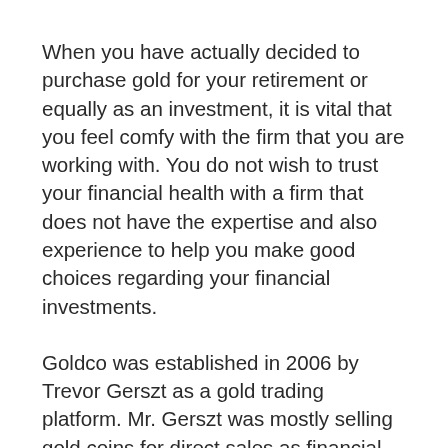When you have actually decided to purchase gold for your retirement or equally as an investment, it is vital that you feel comfy with the firm that you are working with. You do not wish to trust your financial health with a firm that does not have the expertise and also experience to help you make good choices regarding your financial investments.
Goldco was established in 2006 by Trevor Gerszt as a gold trading platform. Mr. Gerszt was mostly selling gold coins for direct sales as financial investments. The business also offered gold bars and also access to silver coins and metals.
Gerszt soon discovered that there was a